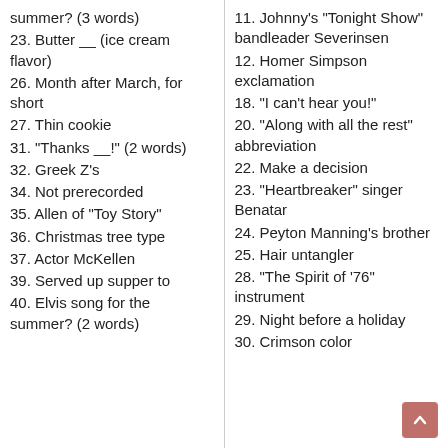summer? (3 words)
23. Butter __ (ice cream flavor)
26. Month after March, for short
27. Thin cookie
31. "Thanks __!" (2 words)
32. Greek Z’s
34. Not prerecorded
35. Allen of “Toy Story”
36. Christmas tree type
37. Actor McKellen
39. Served up supper to
40. Elvis song for the summer? (2 words)
11. Johnny’s “Tonight Show” bandleader Severinsen
12. Homer Simpson exclamation
18. “I can’t hear you!”
20. “Along with all the rest” abbreviation
22. Make a decision
23. “Heartbreaker” singer Benatar
24. Peyton Manning’s brother
25. Hair untangler
28. “The Spirit of ’76” instrument
29. Night before a holiday
30. Crimson color